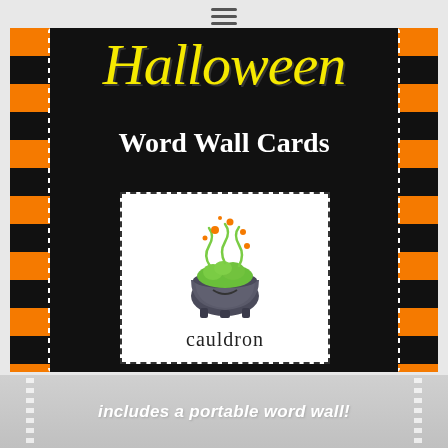[Figure (illustration): Hamburger menu icon (three horizontal lines) at top center of page]
Halloween
Word Wall Cards
[Figure (illustration): A word wall card with a dotted border showing a cartoon cauldron with green bubbling liquid and orange sparkles above it, labeled 'cauldron' at the bottom]
includes a portable word wall!